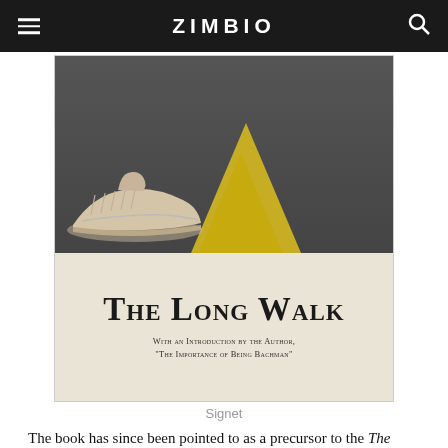ZIMBIO
[Figure (illustration): Book cover of 'The Long Walk' showing sneakers on a road with a yellow road marking, subtitle 'With an Introduction by the Author, "The Importance of Being Bachman"']
Signet
The book has since been pointed to as a precursor to the The Hunger Games, which is accurate in its ideas, but doesn't do justice to the details. King is less forgiving an author, plodding along as brutally as the walk itself, killing characters off until the pile of bodies stands as a testament to the cruelty of this